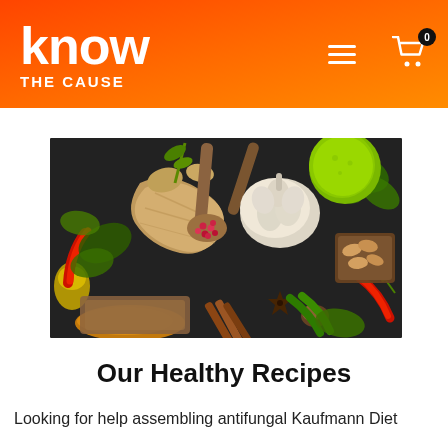know THE CAUSE
[Figure (photo): Overhead flat-lay of various spices and herbs on a dark background, including ginger root, garlic bulbs, red chili peppers, green herbs, wooden spoons with peppercorns, turmeric powder, cinnamon sticks, star anise, a lime, and almonds.]
Our Healthy Recipes
Looking for help assembling antifungal Kaufmann Diet